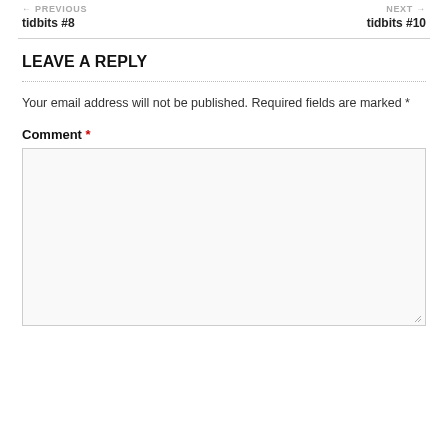← PREVIOUS tidbits #8
NEXT → tidbits #10
LEAVE A REPLY
Your email address will not be published. Required fields are marked *
Comment *